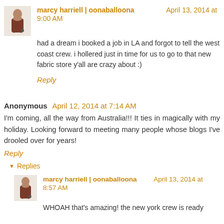marcy harriell | oonaballoona — April 13, 2014 at 9:00 AM
had a dream i booked a job in LA and forgot to tell the west coast crew. i hollered just in time for us to go to that new fabric store y'all are crazy about :)
Reply
Anonymous  April 12, 2014 at 7:14 AM
I'm coming, all the way from Australia!!! It ties in magically with my holiday. Looking forward to meeting many people whose blogs I've drooled over for years!
Reply
▼ Replies
marcy harriell | oonaballoona — April 13, 2014 at 8:57 AM
WHOAH that's amazing! the new york crew is ready